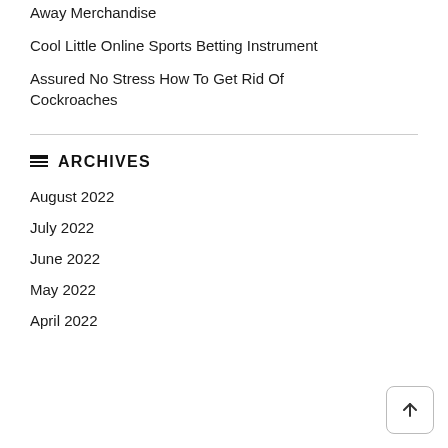Away Merchandise
Cool Little Online Sports Betting Instrument
Assured No Stress How To Get Rid Of Cockroaches
ARCHIVES
August 2022
July 2022
June 2022
May 2022
April 2022